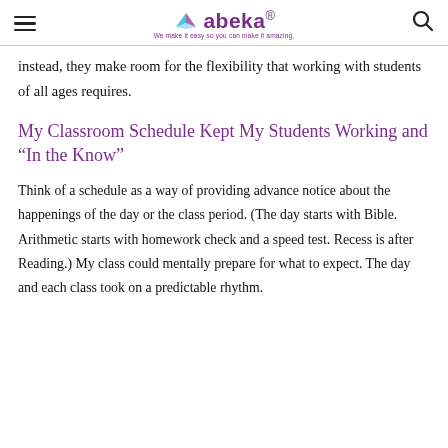abeka — We make it easy so you can make it amazing.
instead, they make room for the flexibility that working with students of all ages requires.
My Classroom Schedule Kept My Students Working and “In the Know”
Think of a schedule as a way of providing advance notice about the happenings of the day or the class period. (The day starts with Bible. Arithmetic starts with homework check and a speed test. Recess is after Reading.) My class could mentally prepare for what to expect. The day and each class took on a predictable rhythm.